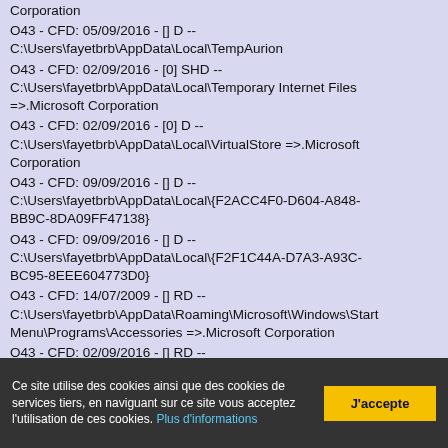Corporation
O43 - CFD: 05/09/2016 - [] D -- C:\Users\fayetbrb\AppData\Local\TempAurion
O43 - CFD: 02/09/2016 - [0] SHD -- C:\Users\fayetbrb\AppData\Local\Temporary Internet Files =>.Microsoft Corporation
O43 - CFD: 02/09/2016 - [0] D -- C:\Users\fayetbrb\AppData\Local\VirtualStore =>.Microsoft Corporation
O43 - CFD: 09/09/2016 - [] D -- C:\Users\fayetbrb\AppData\Local\{F2ACC4F0-D604-A848-BB9C-8DA09FF47138}
O43 - CFD: 09/09/2016 - [] D -- C:\Users\fayetbrb\AppData\Local\{F2F1C44A-D7A3-A93C-BC95-8EEE604773D0}
O43 - CFD: 14/07/2009 - [] RD -- C:\Users\fayetbrb\AppData\Roaming\Microsoft\Windows\Start Menu\Programs\Accessories =>.Microsoft Corporation
O43 - CFD: 02/09/2016 - [] RD -- C:\Users\fayetbrb\AppData\Roaming\Microsoft\Windows\Start
Ce site utilise des cookies ainsi que des cookies de services tiers, en naviguant sur ce site vous acceptez l'utilisation de ces cookies. Plus d'informations
J'accepte